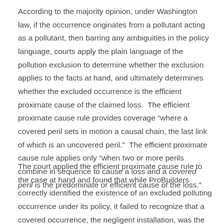According to the majority opinion, under Washington law, if the occurrence originates from a pollutant acting as a pollutant, then barring any ambiguities in the policy language, courts apply the plain language of the pollution exclusion to determine whether the exclusion applies to the facts at hand, and ultimately determines whether the excluded occurrence is the efficient proximate cause of the claimed loss.  The efficient proximate cause rule provides coverage "where a covered peril sets in motion a causal chain, the last link of which is an uncovered peril."  The efficient proximate cause rule applies only "when two or more perils combine in sequence to cause a loss and a covered peril is the predominate or efficient cause of the loss."
The court applied the efficient proximate cause rule to the case at hand and found that while ProBuilders correctly identified the existence of an excluded polluting occurrence under its policy, it failed to recognize that a covered occurrence, the negligent installation, was the efficient proximate cause of the claimed loss. The Washington Supreme Court held that coverage for the loss